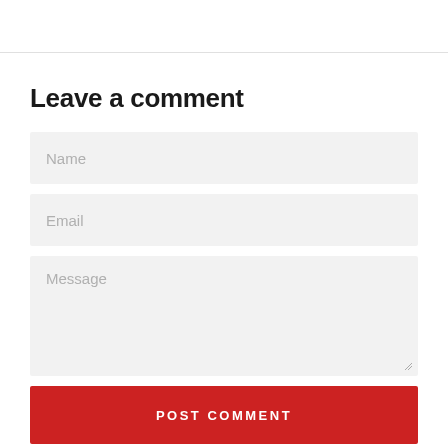Leave a comment
Name
Email
Message
POST COMMENT
Please note, comments must be approved before they